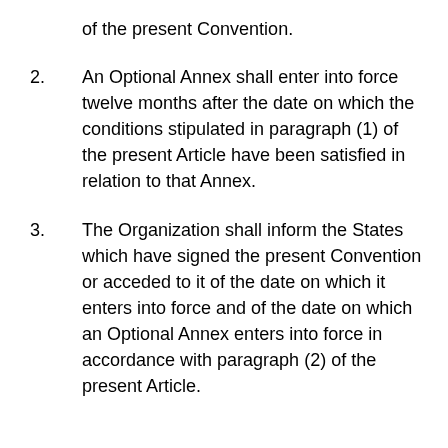of the present Convention.
2. An Optional Annex shall enter into force twelve months after the date on which the conditions stipulated in paragraph (1) of the present Article have been satisfied in relation to that Annex.
3. The Organization shall inform the States which have signed the present Convention or acceded to it of the date on which it enters into force and of the date on which an Optional Annex enters into force in accordance with paragraph (2) of the present Article.